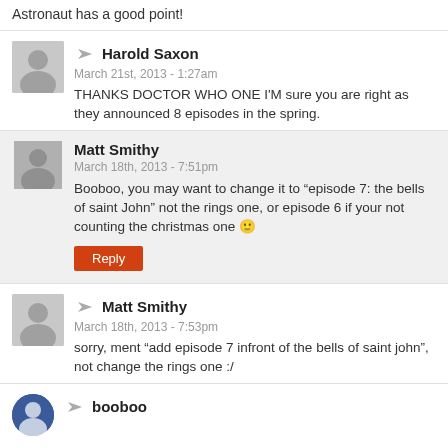Astronaut has a good point!
Harold Saxon
March 21st, 2013 - 1:27am
THANKS DOCTOR WHO ONE I'M sure you are right as they announced 8 episodes in the spring.
Matt Smithy
March 18th, 2013 - 7:51pm
Booboo, you may want to change it to "episode 7: the bells of saint John" not the rings one, or episode 6 if your not counting the christmas one 🙂
Matt Smithy
March 18th, 2013 - 7:53pm
sorry, ment "add episode 7 infront of the bells of saint john", not change the rings one :/
booboo